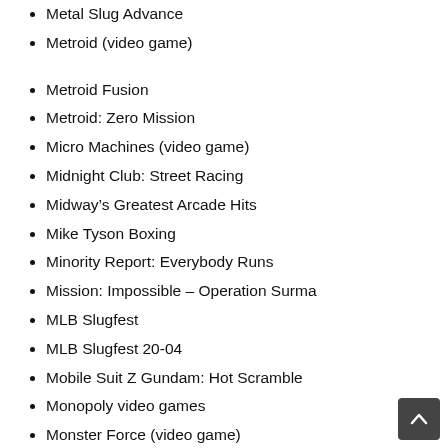Metal Slug Advance
Metroid (video game)
Metroid Fusion
Metroid: Zero Mission
Micro Machines (video game)
Midnight Club: Street Racing
Midway's Greatest Arcade Hits
Mike Tyson Boxing
Minority Report: Everybody Runs
Mission: Impossible – Operation Surma
MLB Slugfest
MLB Slugfest 20-04
Mobile Suit Z Gundam: Hot Scramble
Monopoly video games
Monster Force (video game)
Monster House (video game)
Monster Rancher Advance
Monster Rancher Advance 2
Monsters, Inc. (video game)
Mortal Kombat Advance